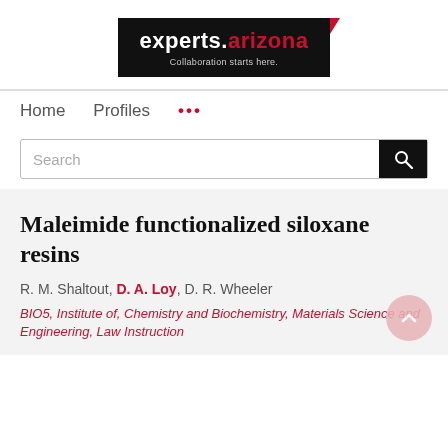[Figure (logo): experts.arizona logo — black rectangle with white bold text 'experts.' and red text 'arizona', tagline 'Collaboration starts here.' in grey, red corner accent top-right]
Home   Profiles   ...
Search
Maleimide functionalized siloxane resins
R. M. Shaltout, D. A. Loy, D. R. Wheeler
BIO5, Institute of, Chemistry and Biochemistry, Materials Science and Engineering, Law Instruction